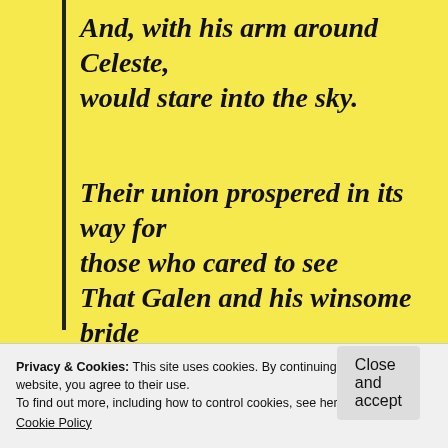And, with his arm around Celeste, would stare into the sky.
Their union prospered in its way for those who cared to see
That Galen and his winsome bride were blessed with progeny
and taught them to be wise.
Privacy & Cookies: This site uses cookies. By continuing to use this website, you agree to their use.
To find out more, including how to control cookies, see here:
Cookie Policy
Close and accept